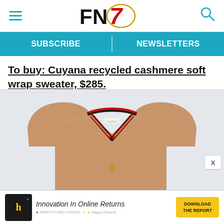FN7 logo with hamburger menu and search icon
SUBSCRIBE   NEWSLETTERS
To buy: Cuyana recycled cashmere soft wrap sweater, $285.
[Figure (photo): A camel/tan colored V-neck cardigan sweater with red, black and tan striped trim along the V-neckline, displayed on a light gray background.]
Innovation In Online Returns  DOWNLOAD THE REPORT  FARFETCHED STUDIO × Happy Returns